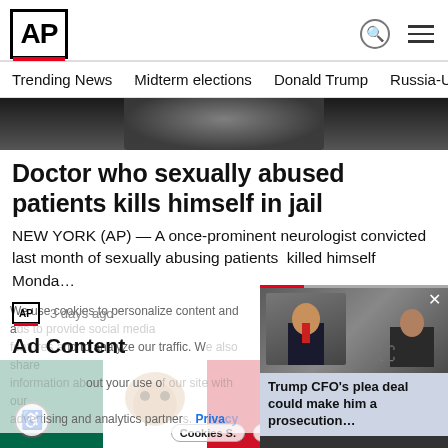AP
Trending News   Midterm elections   Donald Trump   Russia-Ukr
[Figure (photo): Partial photo of a person in a dark suit, cropped at top]
Doctor who sexually abused patients kills himself in jail
NEW YORK (AP) — A once-prominent neurologist convicted last month of sexually abusing patients  killed himself Monda…
AP  3 days ago
We use cookies to personalize content and ads, to provide social media features and to analyze our traffic. We also share information about your use of our site with our advertising and analytics partners. Privacy Policy
Ad Content
[Figure (photo): Ad image showing a person with Mexican flag face paint]
[Figure (photo): Video thumbnail showing Trump CFO story with two men in suits]
Trump CFO's plea deal could make him a prosecution…